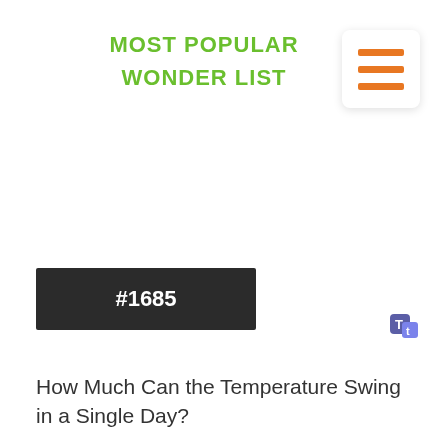MOST POPULAR
WONDER LIST
[Figure (other): Hamburger menu icon with three orange horizontal bars on a white rounded square card with shadow]
#1685
[Figure (logo): Microsoft Teams purple logo icon]
How Much Can the Temperature Swing in a Single Day?